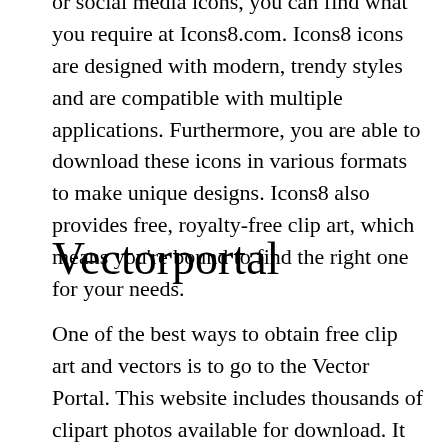or social media icons, you can find what you require at Icons8.com. Icons8 icons are designed with modern, trendy styles and are compatible with multiple applications. Furthermore, you are able to download these icons in various formats to make unique designs. Icons8 also provides free, royalty-free clip art, which means you're bound to find the right one for your needs.
Vectorportal
One of the best ways to obtain free clip art and vectors is to go to the Vector Portal. This website includes thousands of clipart photos available for download. It features work from other designers and is free to use to use for personal or